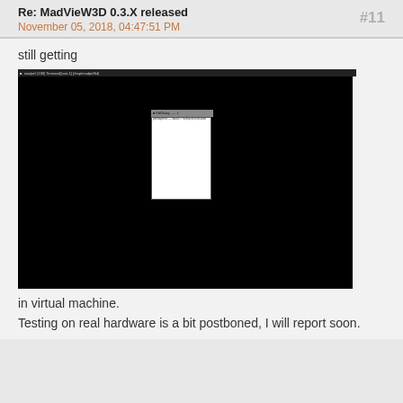Re: MadVieW3D 0.3.X released
November 05, 2018, 04:47:51 PM
#11
still getting
[Figure (screenshot): Screenshot of a terminal window (black background) with a small dialog/error window open in the center, showing a white dialog box with a titlebar and some text content.]
in virtual machine.
Testing on real hardware is a bit postboned, I will report soon.